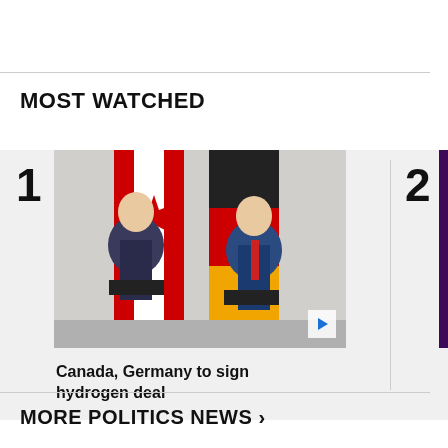MOST WATCHED
[Figure (photo): Two men in suits sitting and talking in front of Canadian and German flags. A play button icon is visible in the lower right corner of the image.]
Canada, Germany to sign hydrogen deal
[Figure (photo): Partial view of a purple/dark image, partially cropped, associated with item 2.]
NASA hole s
MORE POLITICS NEWS ›